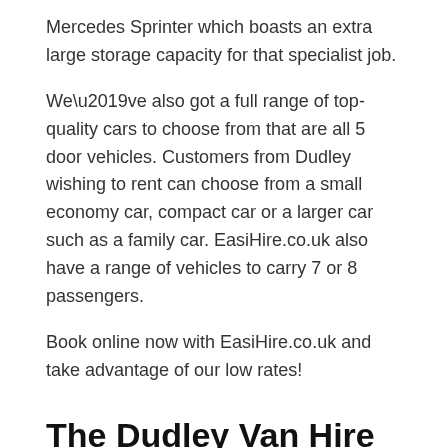Mercedes Sprinter which boasts an extra large storage capacity for that specialist job.
We’ve also got a full range of top-quality cars to choose from that are all 5 door vehicles. Customers from Dudley wishing to rent can choose from a small economy car, compact car or a larger car such as a family car. EasiHire.co.uk also have a range of vehicles to carry 7 or 8 passengers.
Book online now with EasiHire.co.uk and take advantage of our low rates!
The Dudley Van Hire Guide
At some point in our lives we’ll need to hire a van.